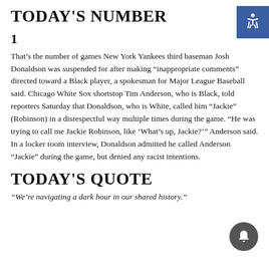TODAY'S NUMBER
1
That’s the number of games New York Yankees third baseman Josh Donaldson was suspended for after making “inappropriate comments” directed toward a Black player, a spokesman for Major League Baseball said. Chicago White Sox shortstop Tim Anderson, who is Black, told reporters Saturday that Donaldson, who is White, called him “Jackie” (Robinson) in a disrespectful way multiple times during the game. “He was trying to call me Jackie Robinson, like ‘What’s up, Jackie?’” Anderson said. In a locker room interview, Donaldson admitted he called Anderson “Jackie” during the game, but denied any racist intentions.
TODAY'S QUOTE
“We’re navigating a dark hour in our shared history.”